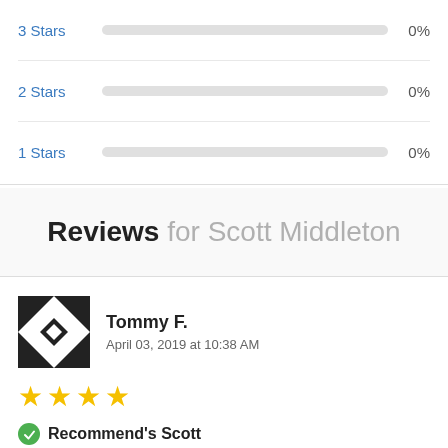3 Stars 0%
2 Stars 0%
1 Stars 0%
Reviews for Scott Middleton
Tommy F.
April 03, 2019 at 10:38 AM
[Figure (other): 4 yellow star rating out of 5]
Recommend's Scott